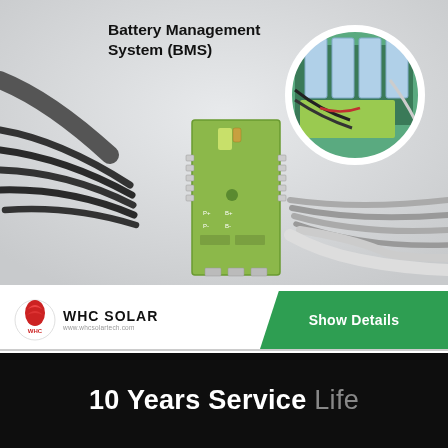[Figure (photo): Battery Management System (BMS) product photo showing a green PCB board with multiple black wires connected on both sides. A circular inset photo in the top right shows the BMS installed in a battery system. The background is light gray.]
Battery Management System (BMS)
[Figure (logo): WHC Solar logo: red stylized bird/flame icon in a circle with 'WHC' text below, company name 'WHC SOLAR' in bold black, website www.whcsolartech.com below]
Show Details
10 Years Service Life